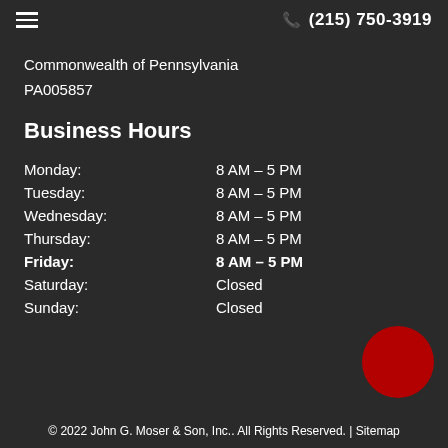☰  (215) 750-3919
Commonwealth of Pennsylvania
PA005857
Business Hours
| Day | Hours |
| --- | --- |
| Monday: | 8 AM - 5 PM |
| Tuesday: | 8 AM - 5 PM |
| Wednesday: | 8 AM - 5 PM |
| Thursday: | 8 AM - 5 PM |
| Friday: | 8 AM - 5 PM |
| Saturday: | Closed |
| Sunday: | Closed |
© 2022 John G. Moser & Son, Inc.. All Rights Reserved. | Sitemap